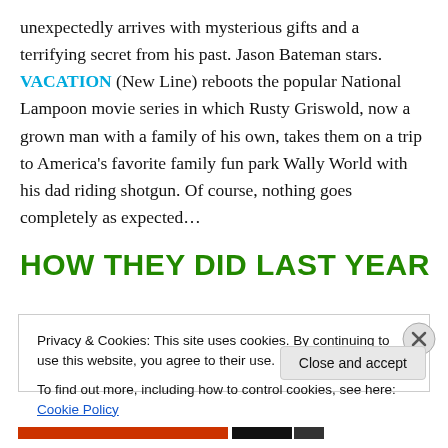unexpectedly arrives with mysterious gifts and a terrifying secret from his past. Jason Bateman stars. VACATION (New Line) reboots the popular National Lampoon movie series in which Rusty Griswold, now a grown man with a family of his own, takes them on a trip to America's favorite family fun park Wally World with his dad riding shotgun. Of course, nothing goes completely as expected…
HOW THEY DID LAST YEAR
Privacy & Cookies: This site uses cookies. By continuing to use this website, you agree to their use.
To find out more, including how to control cookies, see here: Cookie Policy
Close and accept